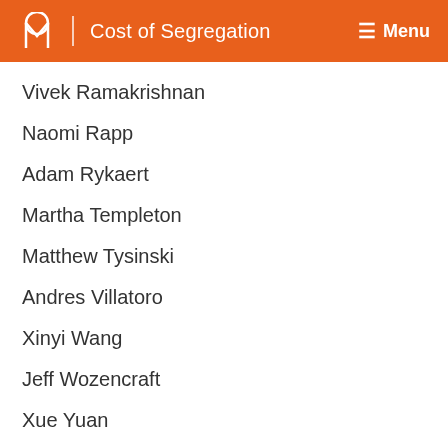M | Cost of Segregation  ☰ Menu
Vivek Ramakrishnan
Naomi Rapp
Adam Rykaert
Martha Templeton
Matthew Tysinski
Andres Villatoro
Xinyi Wang
Jeff Wozencraft
Xue Yuan
This project has been guided at every step by a committed group of advisors. Special thanks to: